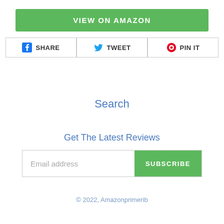VIEW ON AMAZON
SHARE  TWEET  PIN IT
Search
Get The Latest Reviews
Email address  SUBSCRIBE
© 2022, Amazonprimerib